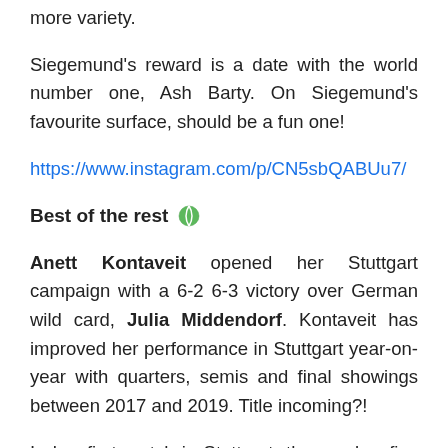more variety.
Siegemund's reward is a date with the world number one, Ash Barty. On Siegemund's favourite surface, should be a fun one!
https://www.instagram.com/p/CN5sbQABUu7/
Best of the rest 🎾
Anett Kontaveit opened her Stuttgart campaign with a 6-2 6-3 victory over German wild card, Julia Middendorf. Kontaveit has improved her performance in Stuttgart year-on-year with quarters, semis and final showings between 2017 and 2019. Title incoming?!
In her first match in Stuttgart, the number five seed, Aryna Sabalenka cruised past Zhang Shuai, 6-2 6-2. Zhang has lost her last six matches in straight sets 😒.